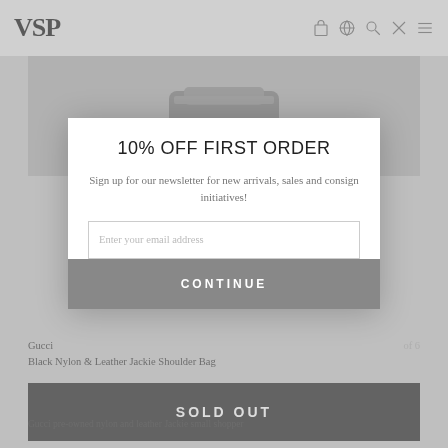VSP
[Figure (photo): Partial view of a dark gray/charcoal bag (Gucci Black Nylon & Leather Jackie Shoulder Bag) visible behind modal overlay]
10% OFF FIRST ORDER
Sign up for our newsletter for new arrivals, sales and consign initiatives!
Enter your email address
CONTINUE
Gucci
Black Nylon & Leather Jackie Shoulder Bag
SOLD OUT
Gucci pre-owned nylon and leather Jackie small shopper